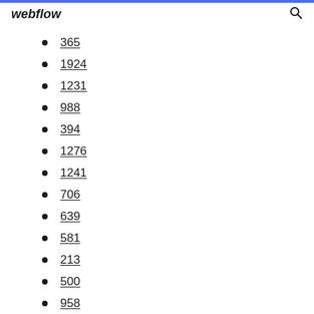webflow
365
1924
1231
988
394
1276
1241
706
639
581
213
500
958